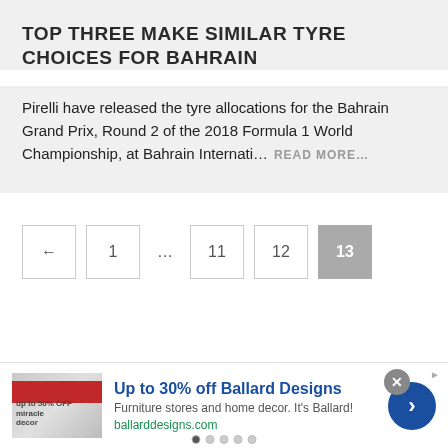TOP THREE MAKE SIMILAR TYRE CHOICES FOR BAHRAIN
Pirelli have released the tyre allocations for the Bahrain Grand Prix, Round 2 of the 2018 Formula 1 World Championship, at Bahrain Internati... READ MORE...
← 1 ... 11 12 13
[Figure (other): Advertisement banner for Ballard Designs: 'Up to 30% off Ballard Designs - Furniture stores and home decor. It's Ballard! ballarddesigns.com']